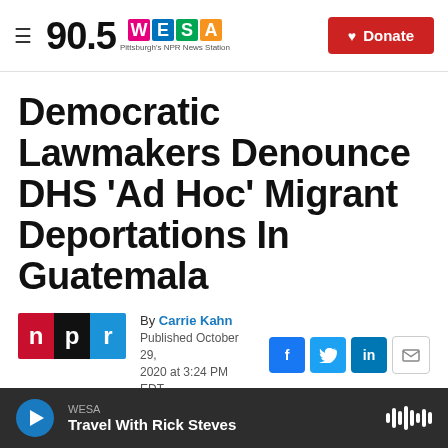90.5 WESA — Pittsburgh's NPR News Station | Donate
Democratic Lawmakers Denounce DHS 'Ad Hoc' Migrant Deportations In Guatemala
By Carrie Kahn
Published October 29, 2020 at 3:24 PM EDT
WESA — Travel With Rick Steves